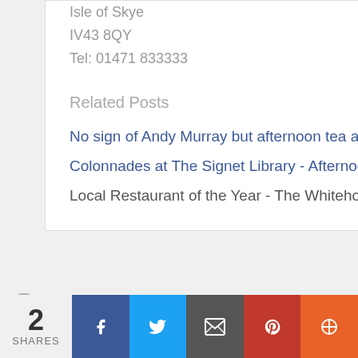Isle of Skye
IV43 8QY
Tel: 01471 833333
Related Posts
No sign of Andy Murray but afternoon tea at Cromlix House was ace!
Colonnades at The Signet Library - Afternoon Tea
Local Restaurant of the Year - The Whitehouse!
Leave a Reply
2 SHARES